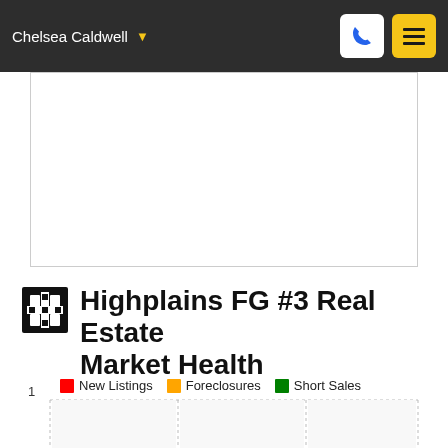Chelsea Caldwell
[Figure (map): Blank map area placeholder]
Highplains FG #3 Real Estate Market Health
New Listings   Foreclosures   Short Sales
[Figure (bar-chart): Highplains FG #3 Real Estate Market Health]